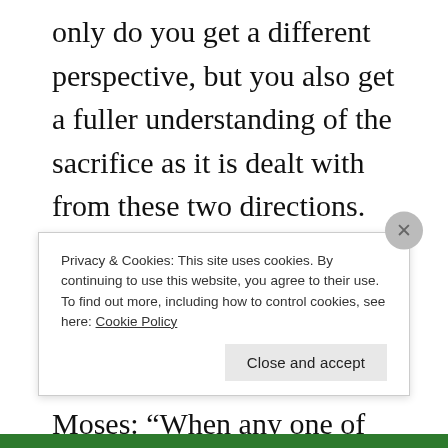only do you get a different perspective, but you also get a fuller understanding of the sacrifice as it is dealt with from these two directions. These are voluntary sacrifices. Notice the language that God gives to Moses: "When any one of you brings a sacrifice…." (Leviticus 1:2) There's no command that He must bring this sacrifice. It is a personal sacrifice voluntarily
Privacy & Cookies: This site uses cookies. By continuing to use this website, you agree to their use. To find out more, including how to control cookies, see here: Cookie Policy